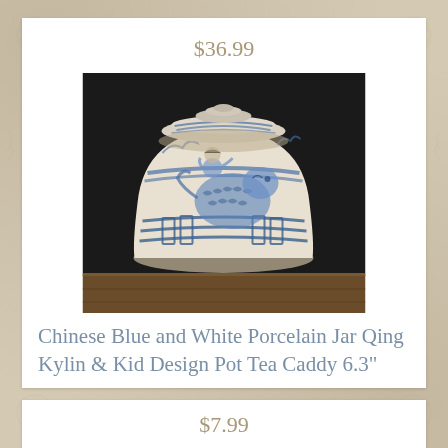$36.99
[Figure (photo): Chinese blue and white porcelain ginger jar with lid, decorated with Kylin and child design on dark background, sitting on a wooden surface]
Chinese Blue and White Porcelain Jar Qing Kylin & Kid Design Pot Tea Caddy 6.3"
$7.99